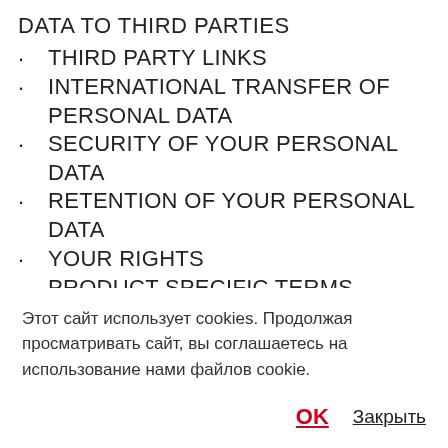DATA TO THIRD PARTIES
THIRD PARTY LINKS
INTERNATIONAL TRANSFER OF PERSONAL DATA
SECURITY OF YOUR PERSONAL DATA
RETENTION OF YOUR PERSONAL DATA
YOUR RIGHTS
PRODUCT SPECIFIC TERMS
Этот сайт использует cookies. Продолжая просматривать сайт, вы соглашаетесь на использование нами файлов cookie.
OK   Закрыть